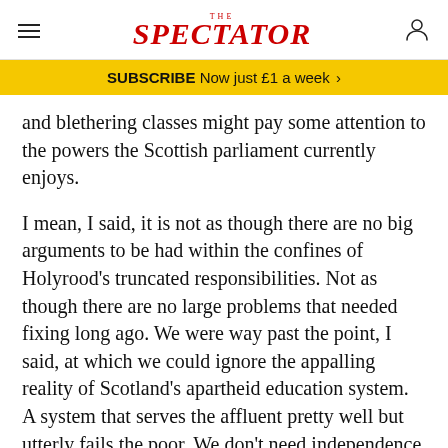THE SPECTATOR
SUBSCRIBE Now just £1 a week >
and blethering classes might pay some attention to the powers the Scottish parliament currently enjoys.
I mean, I said, it is not as though there are no big arguments to be had within the confines of Holyrood's truncated responsibilities. Not as though there are no large problems that needed fixing long ago. We were way past the point, I said, at which we could ignore the appalling reality of Scotland's apartheid education system. A system that serves the affluent pretty well but utterly fails the poor. We don't need independence or even any